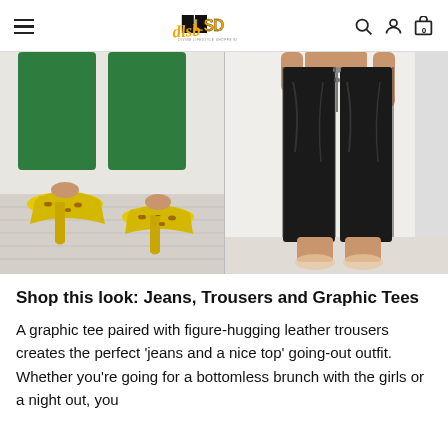DLSB — navigation header with logo, hamburger menu, search, account, and cart icons
[Figure (photo): Two fashion product photos side by side: left shows a close-up of green trousers with yellow leopard-print heels on a wooden floor; right shows a woman wearing black faux-leather skinny trousers with transparent heels against a white wall.]
Shop this look: Jeans, Trousers and Graphic Tees
A graphic tee paired with figure-hugging leather trousers creates the perfect 'jeans and a nice top' going-out outfit. Whether you're going for a bottomless brunch with the girls or a night out, you